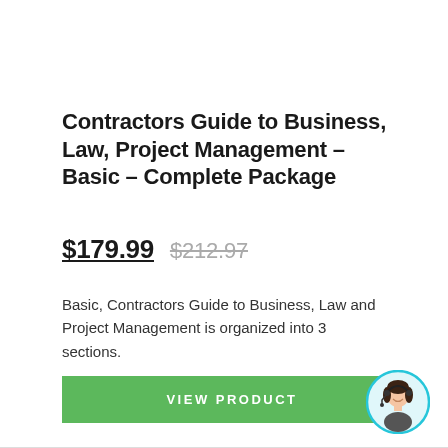Contractors Guide to Business, Law, Project Management – Basic – Complete Package
$179.99  $212.97
Basic, Contractors Guide to Business, Law and Project Management is organized into 3 sections.
VIEW PRODUCT
[Figure (photo): Customer service representative avatar — woman with headset, circular photo with cyan border]